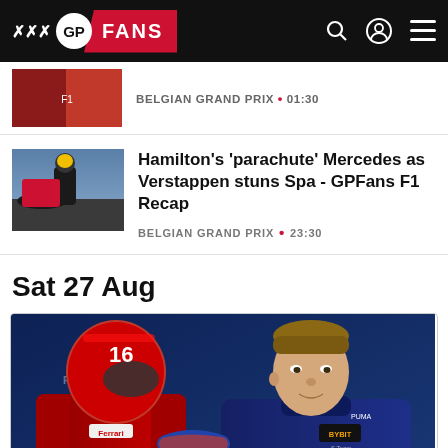GP FANS
[Figure (screenshot): Partially visible article thumbnail showing F1 car with red livery]
BELGIAN GRAND PRIX • 01:30
[Figure (photo): F1 article thumbnail showing Hamilton and Verstappen at Spa]
Hamilton's 'parachute' Mercedes as Verstappen stuns Spa - GPFans F1 Recap
BELGIAN GRAND PRIX • 23:30
Sat 27 Aug
[Figure (photo): Two F1 drivers shaking hands — one in red Ferrari race suit with helmet, one in Oracle Red Bull Racing suit — at the Belgian Grand Prix Spa 2022]